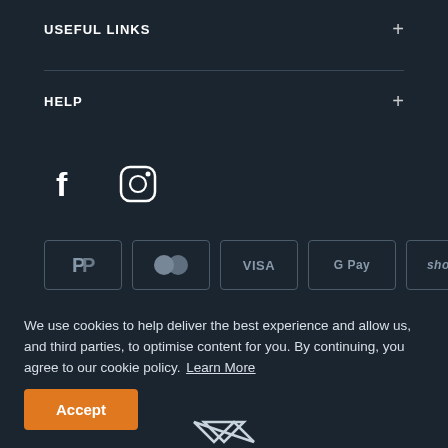USEFUL LINKS
HELP
[Figure (illustration): Social media icons: Facebook (f) and Instagram (camera/circle logo)]
[Figure (illustration): Payment method logos: PayPal, Mastercard, VISA, Google Pay, Shopify, V12 Finance]
[Figure (illustration): Scroll to top arrow icon (upward chevron)]
We use cookies to help deliver the best experience and allow us, and third parties, to optimise content for you. By continuing, you agree to our cookie policy. Learn More
Accept
[Figure (logo): Brand logo at bottom with angular M or W style mark]